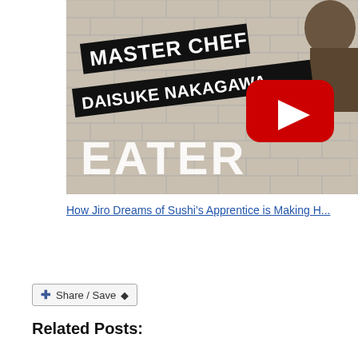[Figure (screenshot): YouTube video thumbnail for 'Master Chef Daisuke Nakagawa' on Eater channel. Shows text 'MASTER CHEF DAISUKE NAKAGAWA' on dark banners in upper left, YouTube play button in center-right, and 'EATER' logo in lower left. Background shows a tiled wall with a person's face partially visible on the right.]
How Jiro Dreams of Sushi's Apprentice is Making H...
[Figure (other): Share / Save button widget with blue plus icon]
Related Posts: